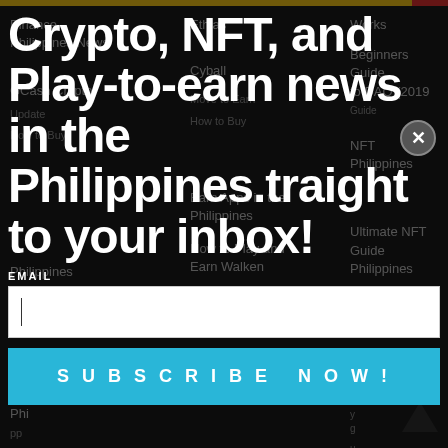Binance Philippines News | Ethlas | Works | GCash Crypto Update | Cyball | Beginners Guide to DAO (2019 Guide | How to Buy | Move to Earn | NFT Philippines | How to Buy | Earn Apps in the Philippines | Ultimate NFT Guide Philippines | Philippines | How to Play and Earn Walken | NFT Gas Fees Guide | Buy Ethereum Philippines | Stepn | Buy Philippines | Buy Philippines | Buy Decentraland Philippines | How to Earn in Proof-of-Workout Workout | NFT Flipping – Make Money from NFTs
Crypto, NFT, and Play-to-earn news in the Philippines.traight to your inbox!
EMAIL
[Figure (other): Email input field with cursor]
SUBSCRIBE NOW!
[Figure (other): Scroll to top arrow icon]